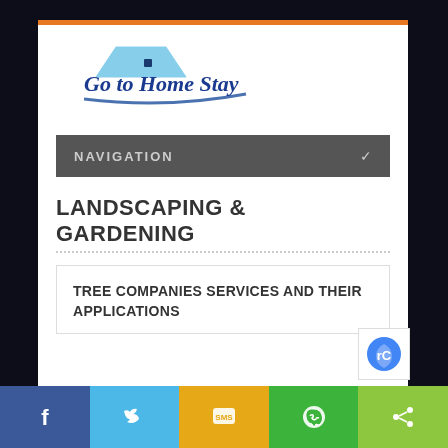[Figure (logo): Go to Home Stay logo with house icon and cursive text]
NAVIGATION
LANDSCAPING & GARDENING
TREE COMPANIES SERVICES AND THEIR APPLICATIONS